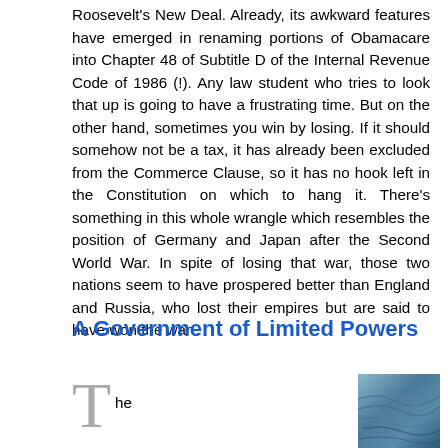Roosevelt's New Deal. Already, its awkward features have emerged in renaming portions of Obamacare into Chapter 48 of Subtitle D of the Internal Revenue Code of 1986 (!). Any law student who tries to look that up is going to have a frustrating time. But on the other hand, sometimes you win by losing. If it should somehow not be a tax, it has already been excluded from the Commerce Clause, so it has no hook left in the Constitution on which to hang it. There's something in this whole wrangle which resembles the position of Germany and Japan after the Second World War. In spite of losing that war, those two nations seem to have prospered better than England and Russia, who lost their empires but are said to have won the war .
A Government of Limited Powers
he
[Figure (photo): A partial photo visible at the bottom right of the page, showing what appears to be a textured surface, possibly stone or animal skin, with blue-gray tones.]